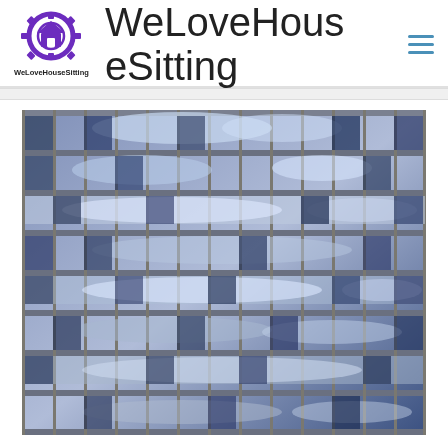WeLoveHouseSitting — WeLoveHouseSitting
WeLoveHouseSitting
[Figure (photo): Close-up photograph of a glass-curtain office building facade with reflections of sky and surroundings in blue-tinted glass panels arranged in a grid pattern with metal frames.]